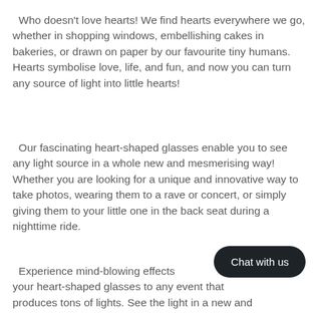Who doesn't love hearts! We find hearts everywhere we go, whether in shopping windows, embellishing cakes in bakeries, or drawn on paper by our favourite tiny humans. Hearts symbolise love, life, and fun, and now you can turn any source of light into little hearts!
Our fascinating heart-shaped glasses enable you to see any light source in a whole new and mesmerising way! Whether you are looking for a unique and innovative way to take photos, wearing them to a rave or concert, or simply giving them to your little one in the back seat during a nighttime ride.
Experience mind-blowing effects your heart-shaped glasses to any event that produces tons of lights. See the light in a new and